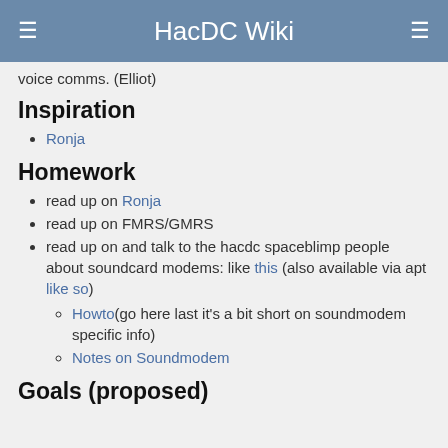HacDC Wiki
voice comms. (Elliot)
Inspiration
Ronja
Homework
read up on Ronja
read up on FMRS/GMRS
read up on and talk to the hacdc spaceblimp people about soundcard modems: like this (also available via apt like so)
Howto(go here last it's a bit short on soundmodem specific info)
Notes on Soundmodem
Goals (proposed)